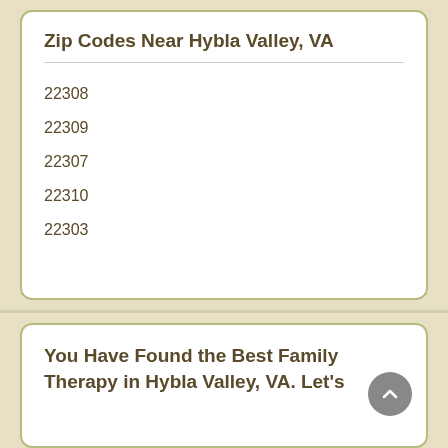Zip Codes Near Hybla Valley, VA
22308
22309
22307
22310
22303
You Have Found the Best Family Therapy in Hybla Valley, VA. Let's